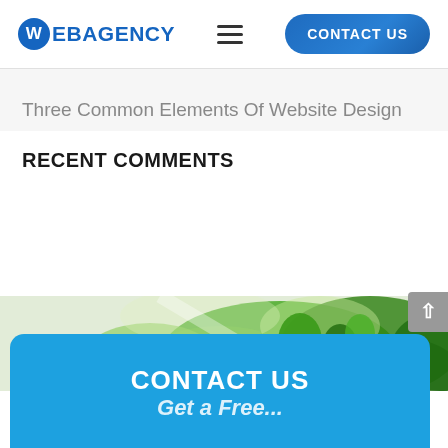WEBAGENCY  ≡  CONTACT US
Three Common Elements Of Website Design
RECENT COMMENTS
[Figure (photo): Close-up photo of green peppers or plant leaves at the bottom of the page]
CONTACT US